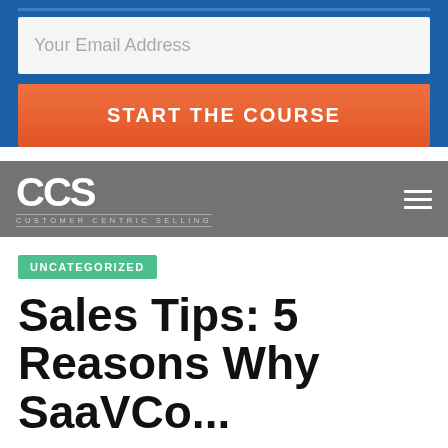Your Email Address
START THE COURSE
CCS CUSTOMER CENTRIC SELLING
UNCATEGORIZED
Sales Tips: 5 Reasons Why SaaVCo...